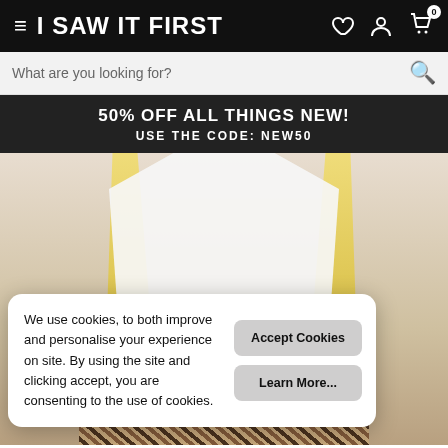I SAW IT FIRST
What are you looking for?
50% OFF ALL THINGS NEW! USE THE CODE: NEW50
[Figure (photo): Fashion model wearing a white oversized shirt and leopard print skirt, with long blonde hair]
We use cookies, to both improve and personalise your experience on site. By using the site and clicking accept, you are consenting to the use of cookies.
Accept Cookies
Learn More...